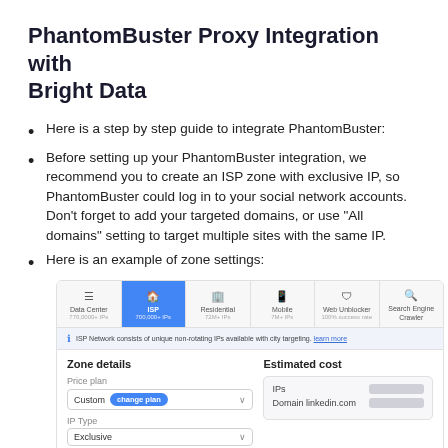PhantomBuster Proxy Integration with Bright Data
Here is a step by step guide to integrate PhantomBuster:
Before setting up your PhantomBuster integration, we recommend you to create an ISP zone with exclusive IP, so PhantomBuster could log in to your social network accounts. Don’t forget to add your targeted domains, or use “All domains” setting to target multiple sites with the same IP.
Here is an example of zone settings:
[Figure (screenshot): Screenshot of zone settings interface showing tabs (Data Center, ISP selected/active in blue, Residential, Mobile, Web Unblocker, Search Engine Crawler), an info bar about ISP network, and a form with Zone details (Price plan: Custom with change plan button, IP Type: Exclusive) and Estimated cost section (IPs row, Domain linkedin.com row).]